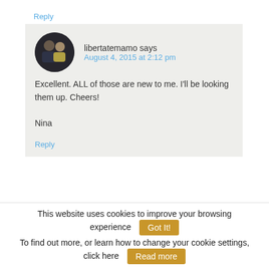Reply
libertatemamo says
August 4, 2015 at 2:12 pm
[Figure (photo): Round avatar photo of two people (a man and a woman) in a social setting]
Excellent. ALL of those are new to me. I'll be looking them up. Cheers!

Nina
Reply
This website uses cookies to improve your browsing experience  Got It!
To find out more, or learn how to change your cookie settings, click here  Read more